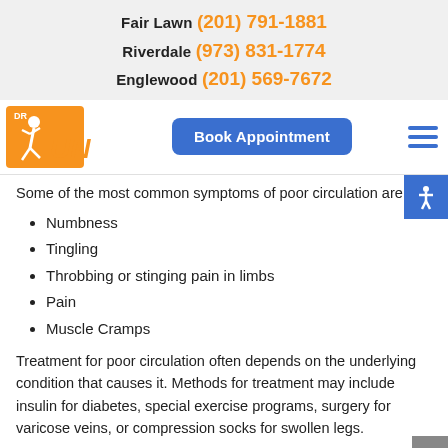Fair Lawn (201) 791-1881
Riverdale (973) 831-1774
Englewood (201) 569-7672
[Figure (logo): Dr. Run logo - orange running figure with DR RUN text]
[Figure (other): Book Appointment button - blue rounded rectangle]
Some of the most common symptoms of poor circulation are:
Numbness
Tingling
Throbbing or stinging pain in limbs
Pain
Muscle Cramps
Treatment for poor circulation often depends on the underlying condition that causes it. Methods for treatment may include insulin for diabetes, special exercise programs, surgery for varicose veins, or compression socks for swollen legs.
As always, see a podiatrist as he or she will assist in